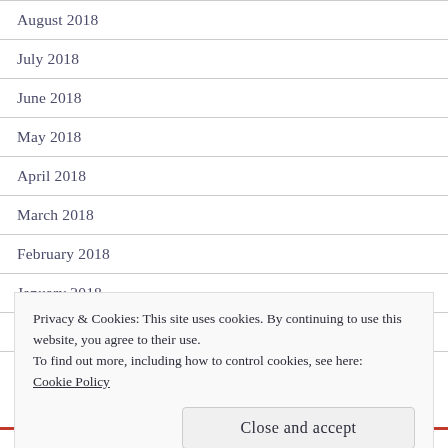August 2018
July 2018
June 2018
May 2018
April 2018
March 2018
February 2018
January 2018
December 2017
Privacy & Cookies: This site uses cookies. By continuing to use this website, you agree to their use.
To find out more, including how to control cookies, see here:
Cookie Policy
Close and accept